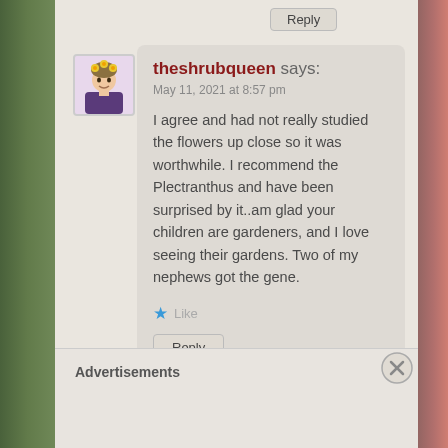Reply
[Figure (illustration): Avatar of theshrubqueen: cartoon woman with flowers in hair, purple dress]
theshrubqueen says:
May 11, 2021 at 8:57 pm
I agree and had not really studied the flowers up close so it was worthwhile. I recommend the Plectranthus and have been surprised by it..am glad your children are gardeners, and I love seeing their gardens. Two of my nephews got the gene.
★ Like
Reply
Advertisements